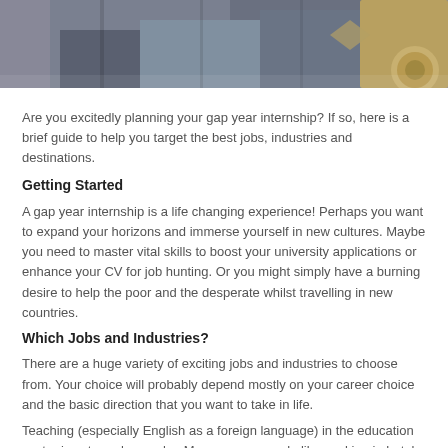[Figure (photo): Cropped photo showing people in casual clothing, bottom portion visible, with a circular wooden object in the lower right corner]
Are you excitedly planning your gap year internship? If so, here is a brief guide to help you target the best jobs, industries and destinations.
Getting Started
A gap year internship is a life changing experience! Perhaps you want to expand your horizons and immerse yourself in new cultures. Maybe you need to master vital skills to boost your university applications or enhance your CV for job hunting. Or you might simply have a burning desire to help the poor and the desperate whilst travelling in new countries.
Which Jobs and Industries?
There are a huge variety of exciting jobs and industries to choose from. Your choice will probably depend mostly on your career choice and the basic direction that you want to take in life.
Teaching (especially English as a foreign language) in the education sector is extremely popular. Many young people like working in hotels and